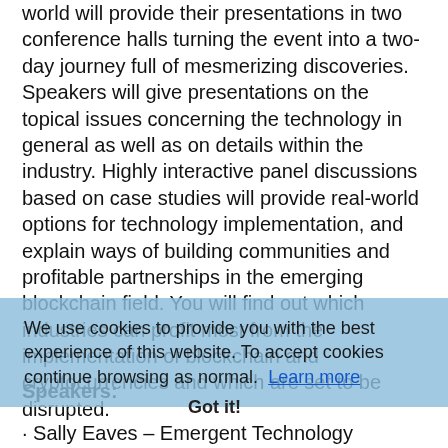world will provide their presentations in two conference halls turning the event into a two-day journey full of mesmerizing discoveries. Speakers will give presentations on the topical issues concerning the technology in general as well as on details within the industry. Highly interactive panel discussions based on case studies will provide real-world options for technology implementation, and explain ways of building communities and profitable partnerships in the emerging blockchain field. You will find out which industries can profit most from the implementation of blockchain and cryptocurrencies and which are set to be disrupted.
We use cookies to provide you with the best experience of this website. To accept cookies continue browsing as normal. Learn more
Speakers:
Got it!
· Sally Eaves – Emergent Technology